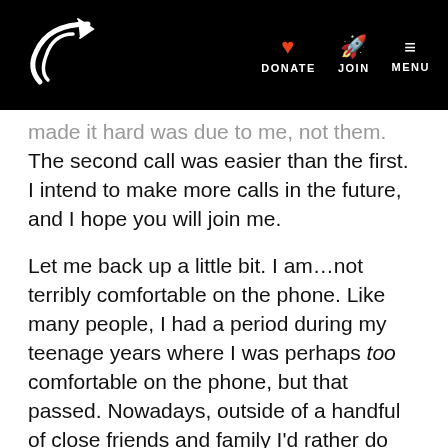DONATE JOIN MENU
made it hard was due to me, not them. The second call was easier than the first. I intend to make more calls in the future, and I hope you will join me.
Let me back up a little bit. I am…not terribly comfortable on the phone. Like many people, I had a period during my teenage years where I was perhaps too comfortable on the phone, but that passed. Nowadays, outside of a handful of close friends and family I'd rather do my communications via email and social media and the web. Even though that would probably difficult for...